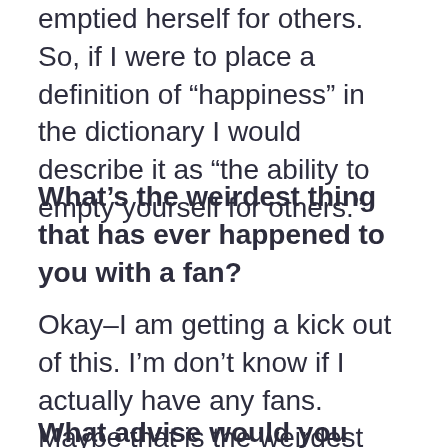emptied herself for others. So, if I were to place a definition of “hapiness” in the dictionary I would describe it as “the ability to empty yourself for others.”
What’s the weirdest thing that has ever happened to you with a fan?
Okay–I am getting a kick out of this. I’m don’t know if I actually have any fans. Maybe that is the weirdest thing of all.
What advise would you give to